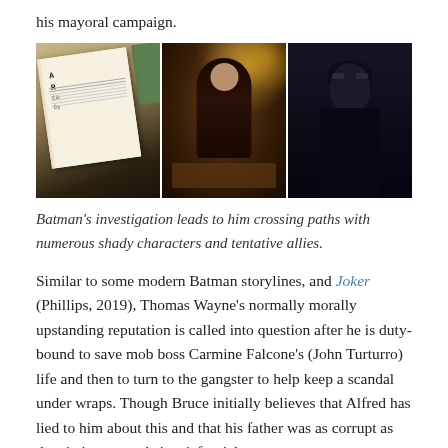his mayoral campaign.
[Figure (photo): Three-panel composite image from The Batman film: left panel shows a handwritten note/book page with green cover, middle panel shows a man in a suit at a dimly lit table with bokeh lights in background, right panel shows a dark masked figure (Batman) in shadow.]
Batman's investigation leads to him crossing paths with numerous shady characters and tentative allies.
Similar to some modern Batman storylines, and Joker (Phillips, 2019), Thomas Wayne's normally morally upstanding reputation is called into question after he is duty-bound to save mob boss Carmine Falcone's (John Turturro) life and then to turn to the gangster to help keep a scandal under wraps. Though Bruce initially believes that Alfred has lied to him about this and that his father was as corrupt as the city's system, he's grief-stricken